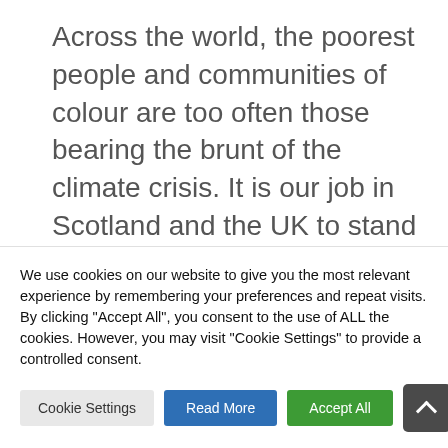Across the world, the poorest people and communities of colour are too often those bearing the brunt of the climate crisis. It is our job in Scotland and the UK to stand in solidarity with all those affected by the climate crisis today and with marginalised communities who will be affected first in the future. We will have team members representing our charity in the Faith and Belief
We use cookies on our website to give you the most relevant experience by remembering your preferences and repeat visits. By clicking "Accept All", you consent to the use of ALL the cookies. However, you may visit "Cookie Settings" to provide a controlled consent.